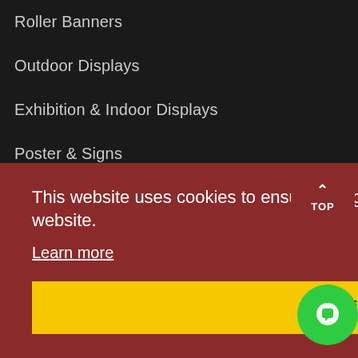Roller Banners
Outdoor Displays
Exhibition & Indoor Displays
Poster & Signs
Wine Label Printing
Gin Label Printing
This website uses cookies to ensure you get the best experience on our website.
Learn more
Got it!